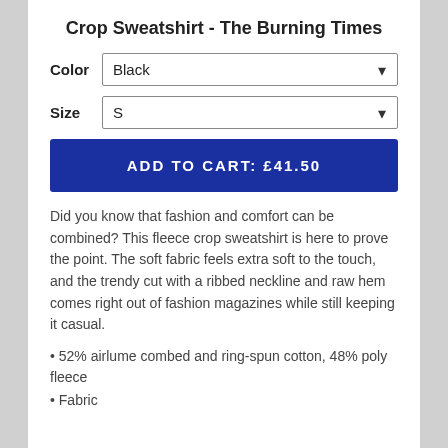Crop Sweatshirt - The Burning Times
Color  Black
Size  S
ADD TO CART: £41.50
Did you know that fashion and comfort can be combined? This fleece crop sweatshirt is here to prove the point. The soft fabric feels extra soft to the touch, and the trendy cut with a ribbed neckline and raw hem comes right out of fashion magazines while still keeping it casual.
• 52% airlume combed and ring-spun cotton, 48% poly fleece
• Fabric